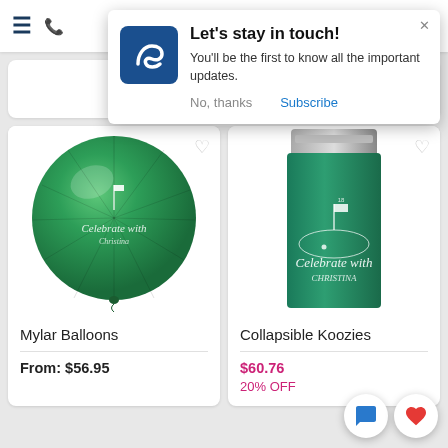[Figure (screenshot): Mobile web browser top bar with hamburger menu icon and phone icon]
[Figure (screenshot): Popup notification: Let's stay in touch! with blue S logo, subscribe/no thanks options]
Let's stay in touch!
You'll be the first to know all the important updates.
No, thanks
Subscribe
[Figure (photo): Green Mylar Balloon product image with golf hole design and Celebrate with Christina text]
Mylar Balloons
From: $56.95
[Figure (photo): Green collapsible koozie with golf hole design and Celebrate with Christina text, silver can visible at top]
Collapsible Koozies
$60.76
20% OFF